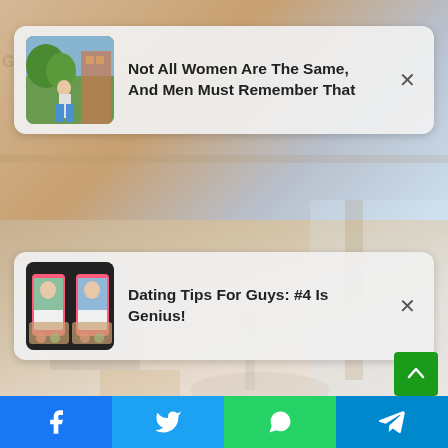[Figure (screenshot): Background photo of a man sitting on an office chair, blurred lifestyle context. Two notification popup cards overlay the image. Below are social share buttons (Facebook, Twitter, WhatsApp, Telegram).]
Not All Women Are The Same, And Men Must Remember That
Dating Tips For Guys: #4 Is Genius!